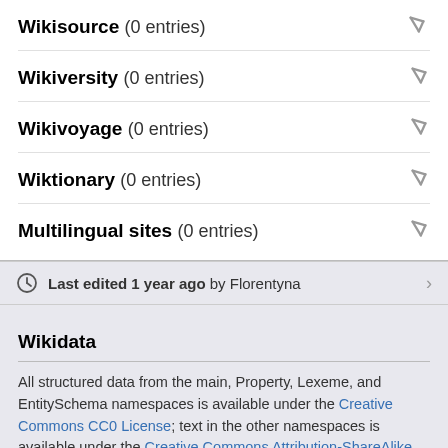Wikisource (0 entries)
Wikiversity (0 entries)
Wikivoyage (0 entries)
Wiktionary (0 entries)
Multilingual sites (0 entries)
Last edited 1 year ago by Florentyna
Wikidata
All structured data from the main, Property, Lexeme, and EntitySchema namespaces is available under the Creative Commons CC0 License; text in the other namespaces is available under the Creative Commons Attribution-ShareAlike